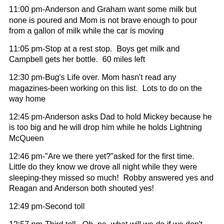11:00 pm-Anderson and Graham want some milk but none is poured and Mom is not brave enough to pour from a gallon of milk while the car is moving
11:05 pm-Stop at a rest stop.  Boys get milk and Campbell gets her bottle.  60 miles left
12:30 pm-Bug's Life over. Mom hasn't read any magazines-been working on this list.  Lots to do on the way home
12:45 pm-Anderson asks Dad to hold Mickey because he is too big and he will drop him while he holds Lightning McQueen
12:46 pm-"Are we there yet?"asked for the first time.  Little do they know we drove all night while they were sleeping-they missed so much!  Robby answered yes and Reagan and Anderson both shouted yes!
12:49 pm-Second toll
12:57 pm-Third toll.  Oh, no, what will we do if we don't have